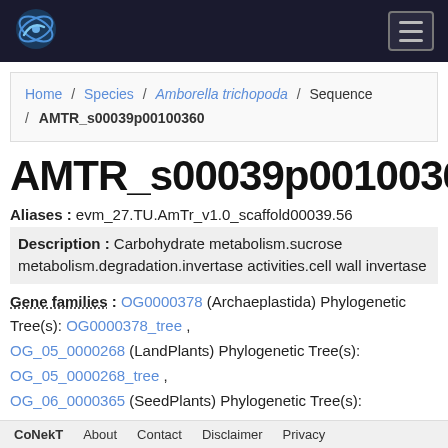CoNekT navigation bar with logo and hamburger menu
Home / Species / Amborella trichopoda / Sequence / AMTR_s00039p00100360
AMTR_s00039p00100360
Aliases : evm_27.TU.AmTr_v1.0_scaffold00039.56
Description : Carbohydrate metabolism.sucrose metabolism.degradation.invertase activities.cell wall invertase
Gene families : OG0000378 (Archaeplastida) Phylogenetic Tree(s): OG0000378_tree , OG_05_0000268 (LandPlants) Phylogenetic Tree(s): OG_05_0000268_tree , OG_06_0000365 (SeedPlants) Phylogenetic Tree(s):
CoNekT About Contact Disclaimer Privacy policy